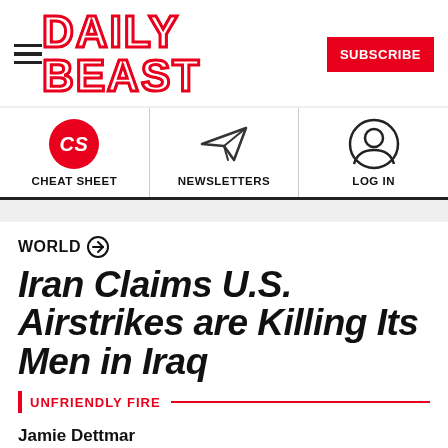DAILY BEAST
[Figure (logo): Daily Beast website header with hamburger menu, DAILY BEAST logo in red outline on white, and SUBSCRIBE button in red]
[Figure (infographic): Navigation bar with three sections: CS (Cheat Sheet icon in red circle), Newsletters (paper airplane icon), Log In (user profile icon)]
WORLD →
Iran Claims U.S. Airstrikes are Killing Its Men in Iraq
UNFRIENDLY FIRE
Jamie Dettmar
Updated Apr. 14, 2017 11:56AM ET
Published Mar. 30, 2015 9:10PM ET